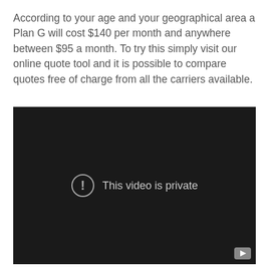According to your age and your geographical area a Plan G will cost $140 per month and anywhere between $95 a month. To try this simply visit our online quote tool and it is possible to compare quotes free of charge from all the carriers available.
[Figure (screenshot): Embedded video player showing a dark/black background with a circular exclamation-mark icon and the message 'This video is private'. A small play button icon is visible in the bottom-right corner.]